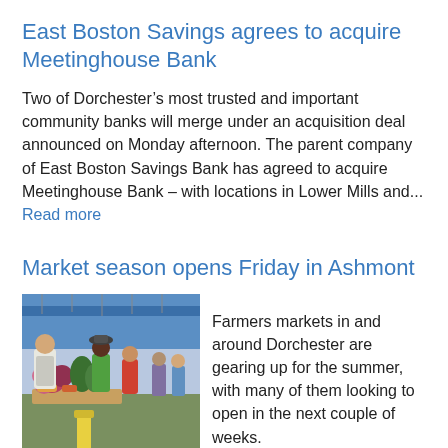East Boston Savings agrees to acquire Meetinghouse Bank
Two of Dorchester’s most trusted and important community banks will merge under an acquisition deal announced on Monday afternoon. The parent company of East Boston Savings Bank has agreed to acquire Meetinghouse Bank – with locations in Lower Mills and... Read more
Market season opens Friday in Ashmont
[Figure (photo): People shopping at a farmers market with flowers and produce on display]
Farmers markets in and around Dorchester are gearing up for the summer, with many of them looking to open in the next couple of weeks.